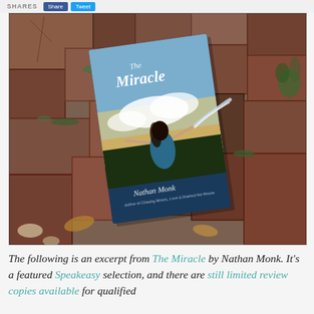SHARES
[Figure (photo): Book cover of 'The Miracle' by Nathan Monk, placed on a stone/brick surface with moss and grass between the stones. The cover features a woman in a blue dress with arms outstretched against a cloudy sky backdrop.]
The following is an excerpt from The Miracle by Nathan Monk. It's a featured Speakeasy selection, and there are still limited review copies available for qualified